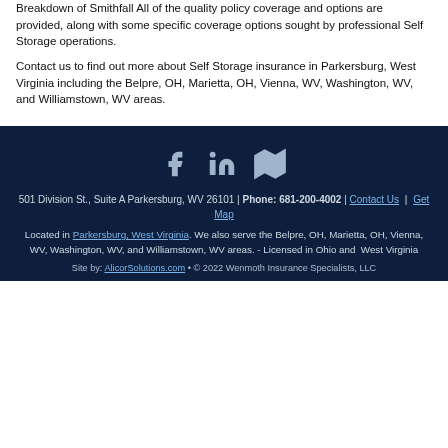Breakdown of Smithfall All of the quality policy coverage and options are provided, along with some specific coverage options sought by professional Self Storage operations.
Contact us to find out more about Self Storage insurance in Parkersburg, West Virginia including the Belpre, OH, Marietta, OH, Vienna, WV, Washington, WV, and Williamstown, WV areas.
[Figure (other): Social media icons: Facebook, LinkedIn, and a map icon]
501 Division St., Suite A Parkersburg, WV 26101 | Phone: 681-200-4002 | Contact Us | Get Map
Located in Parkersburg, West Virginia. We also serve the Belpre, OH, Marietta, OH, Vienna, WV, Washington, WV, and Williamstown, WV areas. - Licensed in Ohio and West Virginia
Site by: AlicorSolutions.com • © 2022 Wenmoth Insurance Specialists, LLC